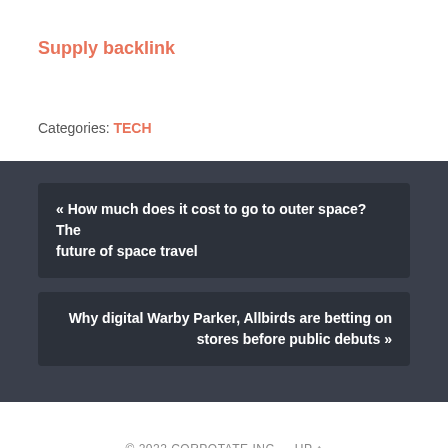Supply backlink
Categories: TECH
« How much does it cost to go to outer space? The future of space travel
Why digital Warby Parker, Allbirds are betting on stores before public debuts »
© 2022 CORPOTATE INC — UP ↑